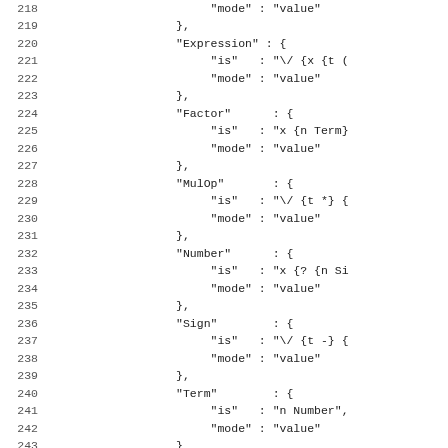Code listing lines 218-247 showing JSON structure with Expression, Factor, MulOp, Number, Sign, Term entries and start field